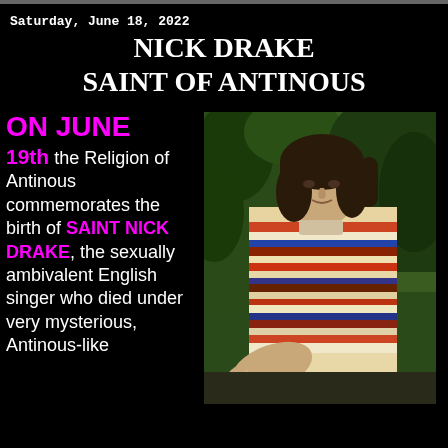Saturday, June 18, 2022
NICK DRAKE
SAINT OF ANTINOUS
[Figure (photo): Young man with dark shoulder-length hair wearing a colorful striped serape/poncho, standing outdoors in a wooded area, extending one hand toward the camera.]
ON JUNE 19th the Religion of Antinous commemorates the birth of SAINT NICK DRAKE, the sexually ambivalent English singer who died under very mysterious, Antinous-like